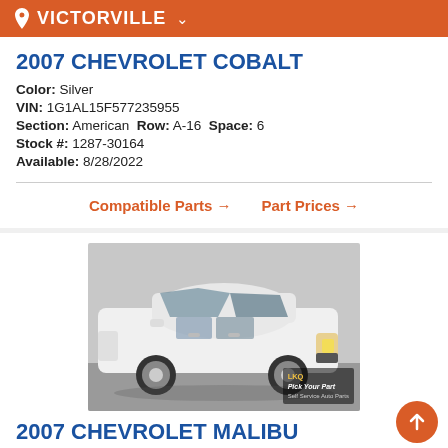VICTORVILLE
2007 CHEVROLET COBALT
Color: Silver
VIN: 1G1AL15F577235955
Section: American  Row: A-16  Space: 6
Stock #: 1287-30164
Available: 8/28/2022
Compatible Parts →   Part Prices →
[Figure (photo): White 2007 Chevrolet Malibu sedan photographed from the side, with LKQ Pick Your Part watermark in bottom right corner.]
2007 CHEVROLET MALIBU